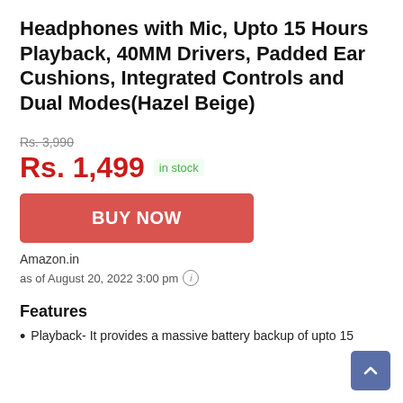Headphones with Mic, Upto 15 Hours Playback, 40MM Drivers, Padded Ear Cushions, Integrated Controls and Dual Modes(Hazel Beige)
Rs. 3,990
Rs. 1,499  in stock
BUY NOW
Amazon.in
as of August 20, 2022 3:00 pm
Features
Playback- It provides a massive battery backup of upto 15